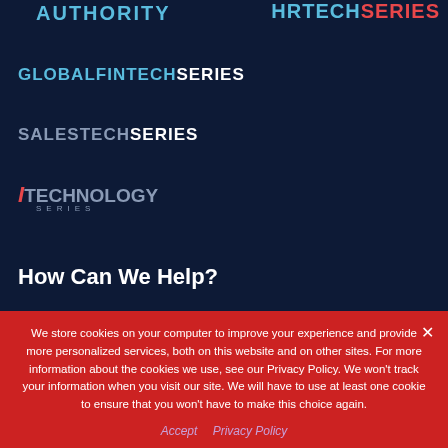[Figure (logo): AUTHORITY text logo in cyan/blue on dark navy background]
[Figure (logo): HRTECH SERIES logo with HR in cyan, TECH in red, SERIES in cyan]
[Figure (logo): GLOBALFINTECH SERIES logo with GLOBAL in cyan, FINTECH in red, SERIES in white]
[Figure (logo): SALESTECH SERIES logo in gray/white on dark navy]
[Figure (logo): iTECHNOLOGY SERIES logo with i in red italic, TECHNOLOGY in gray, SERIES in small letters below]
How Can We Help?
We store cookies on your computer to improve your experience and provide more personalized services, both on this website and on other sites. For more information about the cookies we use, see our Privacy Policy. We won't track your information when you visit our site. We will have to use at least one cookie to ensure that you won't have to make this choice again.
Accept   Privacy Policy